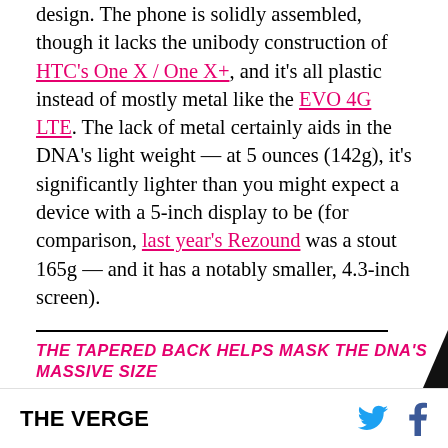design. The phone is solidly assembled, though it lacks the unibody construction of HTC's One X / One X+, and it's all plastic instead of mostly metal like the EVO 4G LTE. The lack of metal certainly aids in the DNA's light weight — at 5 ounces (142g), it's significantly lighter than you might expect a device with a 5-inch display to be (for comparison, last year's Rezound was a stout 165g — and it has a notably smaller, 4.3-inch screen).
THE TAPERED BACK HELPS MASK THE DNA'S MASSIVE SIZE
While the front of the DNA is dominated by Gorilla Glass 2, the rear of the phone is comprised entirely
THE VERGE